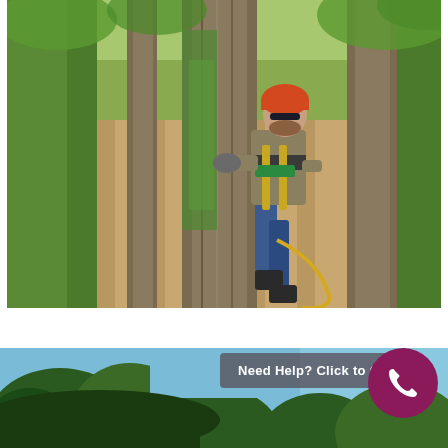[Figure (photo): A tree climber wearing an orange helmet, blue jeans, safety harness with yellow straps, and work gloves climbing a large tree trunk covered with ivy. A wooden fence and other trees with ivy are visible in the background. The setting appears to be a residential backyard.]
[Figure (photo): Partial view of a second photo at the bottom of the page showing treetops against a blue sky, with dark green foliage in the foreground.]
Need Help? Click to Call